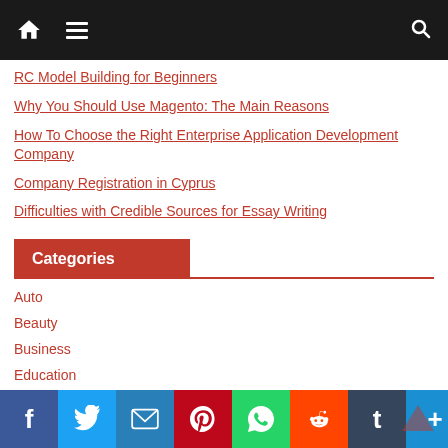Navigation bar with home, menu, and search icons
RC Model Building for Beginners
Why You Should Use Magento: The Main Reasons
How To Choose the Right Enterprise Application Development Company
Company Registration in Cyprus
Difficulties with Credible Sources for Essay Writing
Categories
Auto
Beauty
Business
Education
Fashion